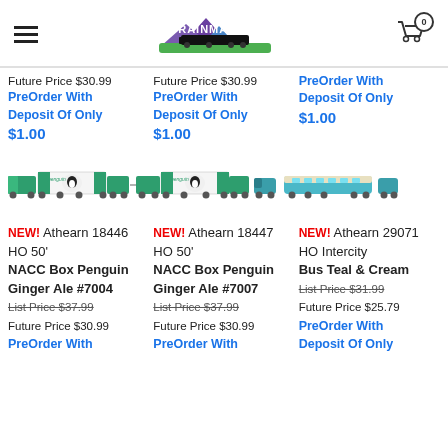Trainmaster — hamburger menu, logo, cart (0)
Future Price $30.99 Future Price $30.99 PreOrder With
PreOrder With Deposit Of Only PreOrder With Deposit Of Only $1.00
$1.00 Deposit Of Only
$1.00 $1.00
[Figure (photo): Strip of model train images: green/white NACC box cars with Penguin Ginger Ale livery (two sets), plus teal/cream intercity bus models]
NEW! Athearn 18446 HO 50' NACC Box Penguin Ginger Ale #7004
List Price $37.99
Future Price $30.99
PreOrder With
NEW! Athearn 18447 HO 50' NACC Box Penguin Ginger Ale #7007
List Price $37.99
Future Price $30.99
PreOrder With
NEW! Athearn 29071 HO Intercity Bus Teal & Cream
List Price $31.99
Future Price $25.79
PreOrder With Deposit Of Only